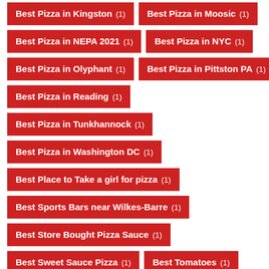Best Pizza in Kingston (1)
Best Pizza in Moosic (1)
Best Pizza in NEPA 2021 (1)
Best Pizza in NYC (1)
Best Pizza in Olyphant (1)
Best Pizza in Pittston PA (1)
Best Pizza in Reading (1)
Best Pizza in Tunkhannock (1)
Best Pizza in Washington DC (1)
Best Place to Take a girl for pizza (1)
Best Sports Bars near Wilkes-Barre (1)
Best Store Bought Pizza Sauce (1)
Best Sweet Sauce Pizza (1)
Best Tomatoes (1)
Best Whole Peeled Tomatoes (1)